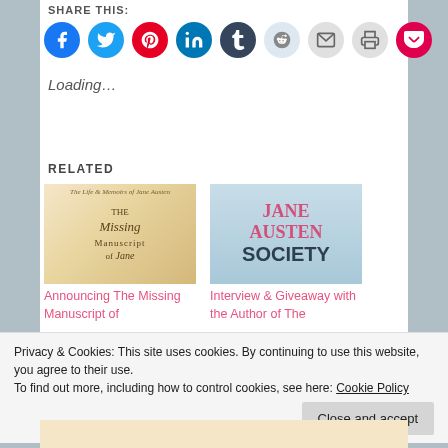SHARE THIS:
[Figure (infographic): Row of 9 circular social share icons: Facebook (blue), Twitter (cyan), Pinterest (red), LinkedIn (teal), Tumblr (dark navy), Reddit (light blue), Email (gray), Print (gray), Pocket (red)]
Loading...
RELATED
[Figure (photo): Book cover: The Missing Manuscript of Jane Austen - cream/gold illustrated cover]
Announcing The Missing Manuscript of
[Figure (photo): Book cover: Jane Austen Society - light blue cover with pink and dark text]
Interview & Giveaway with the Author of The
Privacy & Cookies: This site uses cookies. By continuing to use this website, you agree to their use.
To find out more, including how to control cookies, see here: Cookie Policy